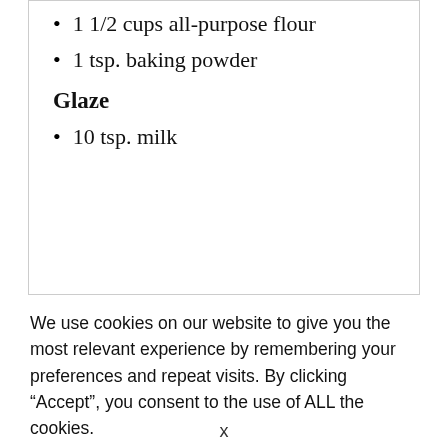1 1/2 cups all-purpose flour
1 tsp. baking powder
Glaze
10 tsp. milk
We use cookies on our website to give you the most relevant experience by remembering your preferences and repeat visits. By clicking “Accept”, you consent to the use of ALL the cookies.
[Figure (other): Teal/green Accept button]
x